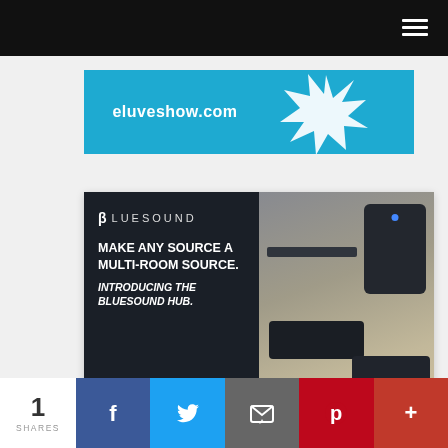Navigation bar with hamburger menu
[Figure (photo): Partial advertisement banner showing 'eluveshow.com' text on a blue background with a starburst graphic]
[Figure (photo): Bluesound advertisement: dark left panel with BLUESOUND logo and text 'MAKE ANY SOURCE A MULTI-ROOM SOURCE. INTRODUCING THE BLUESOUND HUB.' with photo of audio devices on right]
1 SHARES | Facebook | Twitter | Email | Pinterest | More